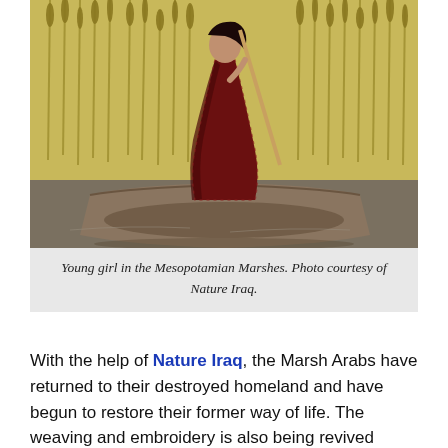[Figure (photo): Young girl standing on a wooden boat in the Mesopotamian Marshes, wearing a dark red patterned dress, using a long pole to punt the boat. Tall reeds and grass visible in the background.]
Young girl in the Mesopotamian Marshes. Photo courtesy of Nature Iraq.
With the help of Nature Iraq, the Marsh Arabs have returned to their destroyed homeland and have begun to restore their former way of life. The weaving and embroidery is also being revived along with other handcraft traditions. The older generations, women in their sixties and seventies, have kept their crafts alive and are now teaching